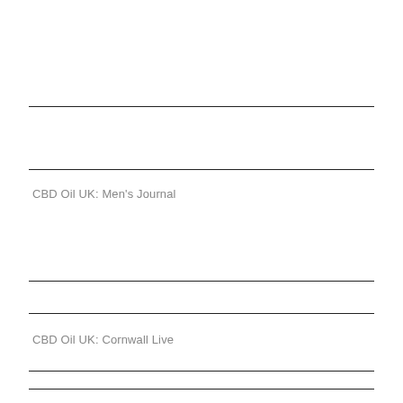CBD Oil UK: Men's Journal
CBD Oil UK: Cornwall Live